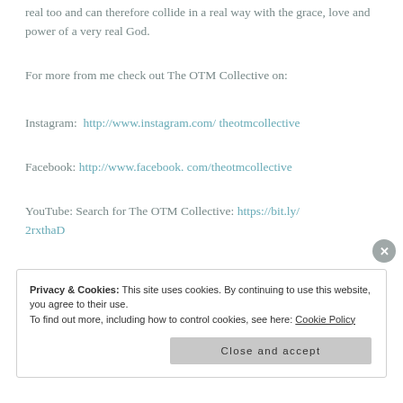real too and can therefore collide in a real way with the grace, love and power of a very real God.
For more from me check out The OTM Collective on:
Instagram:  http://www.instagram.com/ theotmcollective
Facebook: http://www.facebook. com/theotmcollective
YouTube: Search for The OTM Collective: https://bit.ly/2rxthaD
Privacy & Cookies: This site uses cookies. By continuing to use this website, you agree to their use.
To find out more, including how to control cookies, see here: Cookie Policy
Close and accept